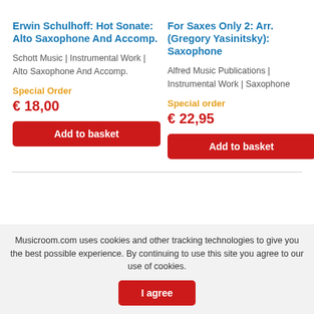Erwin Schulhoff: Hot Sonate: Alto Saxophone And Accomp.
Schott Music | Instrumental Work | Alto Saxophone And Accomp.
Special Order
€ 18,00
Add to basket
For Saxes Only 2: Arr. (Gregory Yasinitsky): Saxophone
Alfred Music Publications | Instrumental Work | Saxophone
Special order
€ 22,95
Add to basket
Musicroom.com uses cookies and other tracking technologies to give you the best possible experience. By continuing to use this site you agree to our use of cookies.
I agree